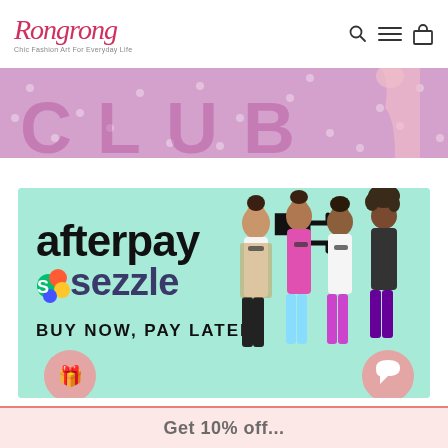[Figure (logo): Rongrong script logo with tagline 'Chic Fashion Art For Everyday Life']
[Figure (illustration): Pink/purple banner with 'CLUB' text partially visible, polka dots, and illustrated fashion figure]
[Figure (infographic): Afterpay and Sezzle 'Buy Now, Pay Later' banner on mint green background with fashion illustration of four stylish women]
[Figure (other): Bottom pink bar partially showing text about discount offer]